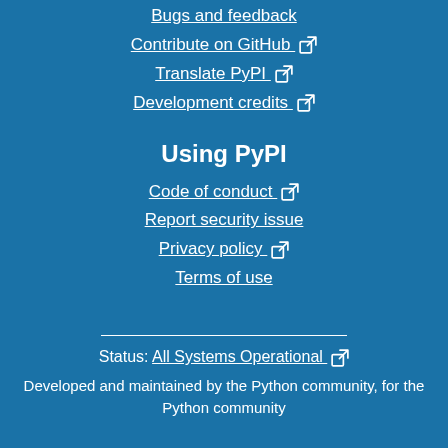Bugs and feedback
Contribute on GitHub ↗
Translate PyPI ↗
Development credits ↗
Using PyPI
Code of conduct ↗
Report security issue
Privacy policy ↗
Terms of use
Status: All Systems Operational ↗
Developed and maintained by the Python community, for the Python community